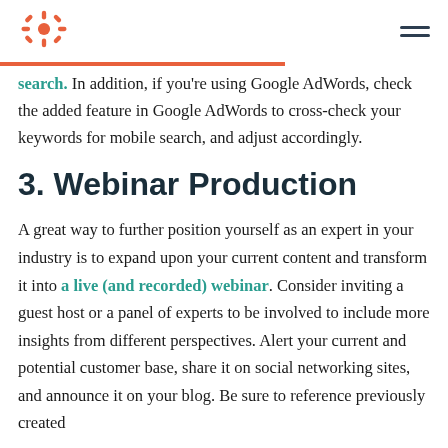HubSpot logo and navigation menu
search. In addition, if you're using Google AdWords, check the added feature in Google AdWords to cross-check your keywords for mobile search, and adjust accordingly.
3. Webinar Production
A great way to further position yourself as an expert in your industry is to expand upon your current content and transform it into a live (and recorded) webinar. Consider inviting a guest host or a panel of experts to be involved to include more insights from different perspectives. Alert your current and potential customer base, share it on social networking sites, and announce it on your blog. Be sure to reference previously created